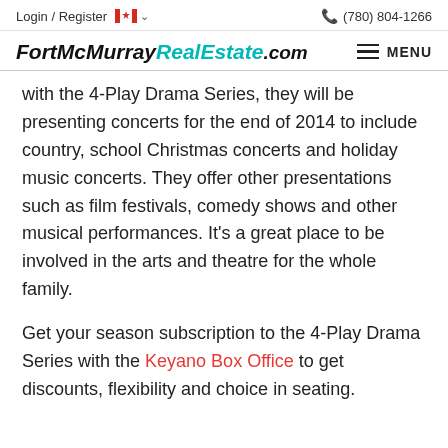Login / Register  (780) 804-1266
FortMcMurray RealEstate .com
with the 4-Play Drama Series, they will be presenting concerts for the end of 2014 to include country, school Christmas concerts and holiday music concerts. They offer other presentations such as film festivals, comedy shows and other musical performances. It's a great place to be involved in the arts and theatre for the whole family.
Get your season subscription to the 4-Play Drama Series with the Keyano Box Office to get discounts, flexibility and choice in seating.